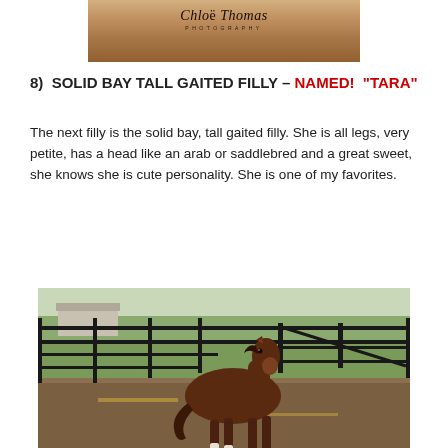[Figure (photo): Top portion of a Chloe Thomas Photography watermarked photo showing a horse (cropped, mostly showing fur/coat), with the 'Chloe Thomas Photography' logo overlaid.]
8)  SOLID BAY TALL GAITED FILLY – NAMED!  "TARA"
The next filly is the solid bay, tall gaited filly. She is all legs, very petite, has a head like an arab or saddlebred and a great sweet, she knows she is cute personality. She is one of my favorites.
[Figure (photo): Photo of a young bay foal (Tara) standing in a paddock with black metal fence/gate panels behind her, green grass and trees visible in the background. The foal is facing slightly toward the camera.]